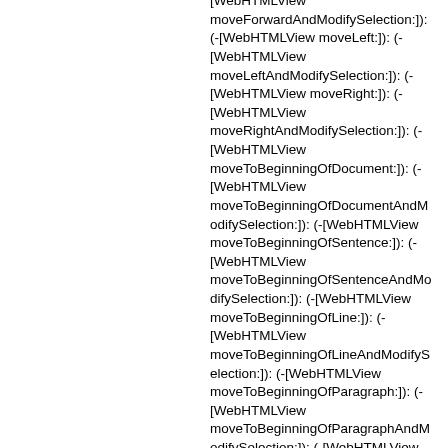[WebHTMLView moveForwardAndModifySelection:]): (-[WebHTMLView moveLeft:]): (-[WebHTMLView moveLeftAndModifySelection:]): (-[WebHTMLView moveRight:]): (-[WebHTMLView moveRightAndModifySelection:]): (-[WebHTMLView moveToBeginningOfDocument:]): (-[WebHTMLView moveToBeginningOfDocumentAndModifySelection:]): (-[WebHTMLView moveToBeginningOfSentence:]): (-[WebHTMLView moveToBeginningOfSentenceAndModifySelection:]): (-[WebHTMLView moveToBeginningOfLine:]): (-[WebHTMLView moveToBeginningOfLineAndModifySelection:]): (-[WebHTMLView moveToBeginningOfParagraph:]): (-[WebHTMLView moveToBeginningOfParagraphAndModifySelection:]): (-[WebHTMLView moveToEndOfDocument:]): (-[WebHTMLView moveToEndOfDocumentAndModifySelection:]): (-[WebHTMLView moveToEndOfSentence:]): (-[WebHTMLView moveToEndOfSentenceAndModifySelection:]): (-[WebHTMLView moveToEndOfLine:]): (-[WebHTMLView moveToEndOfLineAndModifySelection:]): (-[WebHTMLView moveToEndOfParagraph:]): (-[WebHTMLView moveToEndOfParagraphAndModifySelection:]): (-[WebHTMLView moveParagraphBackwardAndModifySelection:]): (-[WebHTMLView moveParagraphForwardAndModifySelection:]): (-[WebHTMLView moveUp:]): (-[WebHTMLView moveUpAndModifySelection:]): (-[WebHTMLView moveWordBackward:]): (-[WebHTMLView moveWordBackwardAndModifySelection:]): (-[WebHTMLView moveWordForward:]): (-[WebHTMLView